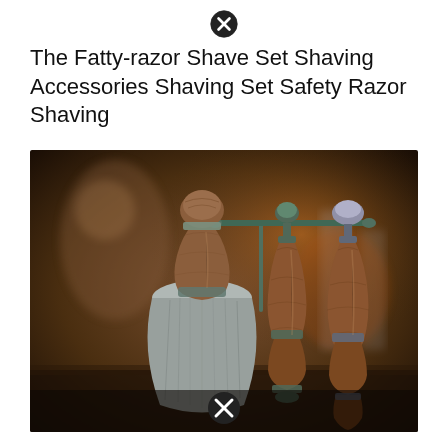[Figure (other): Close button icon (X in circle) at top center of page]
The Fatty-razor Shave Set Shaving Accessories Shaving Set Safety Razor Shaving
[Figure (photo): Photograph of a wooden shaving set including a shaving brush with grey bristles and two wooden-handled razor/grooming tools mounted on a metal stand, photographed on a dark blurred background]